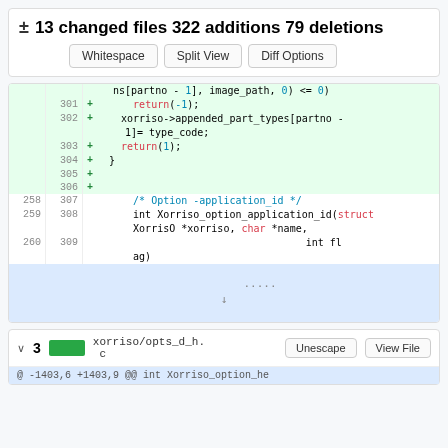± 13 changed files 322 additions 79 deletions
[Figure (screenshot): Git diff viewer showing code changes with line numbers, added lines highlighted in green, and buttons for Whitespace, Split View, Diff Options]
xorriso/opts_d_h.c — file section with 3 changes, Unescape and View File buttons
@ -1403,6 +1403,9 @@ int Xorriso_option_he